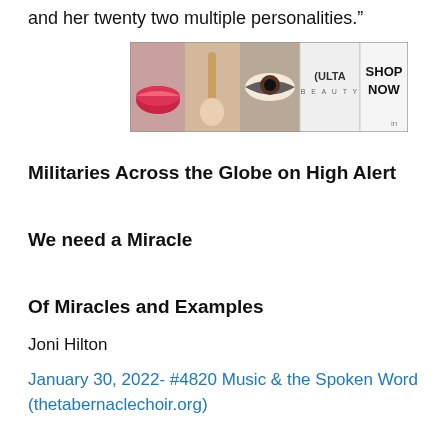and her twenty two multiple personalities.”
[Figure (photo): ULTA Beauty advertisement banner showing collage of makeup/beauty images: lips with lipstick, makeup brush, eye with eyeshadow, ULTA Beauty logo, dramatic eye makeup, and SHOP NOW text]
Militaries Across the Globe on High Alert
We need a Miracle
Of Miracles and Examples
Joni Hilton
January 30, 2022- #4820 Music & the Spoken Word (thetabernaclechoir.org)